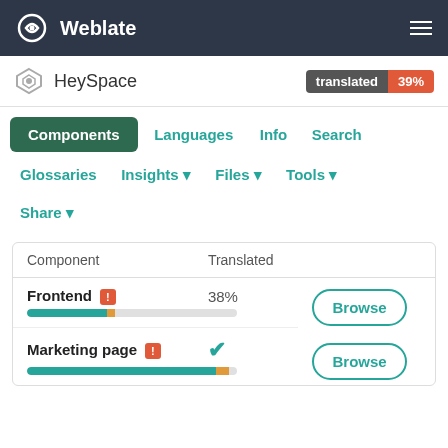Weblate
HeySpace   translated 39%
Components
Languages
Info
Search
Glossaries
Insights ▾
Files ▾
Tools ▾
Share ▾
| Component | Translated |  |
| --- | --- | --- |
| Frontend ! | 38% | Browse |
| Marketing page ! | ✓ | Browse |